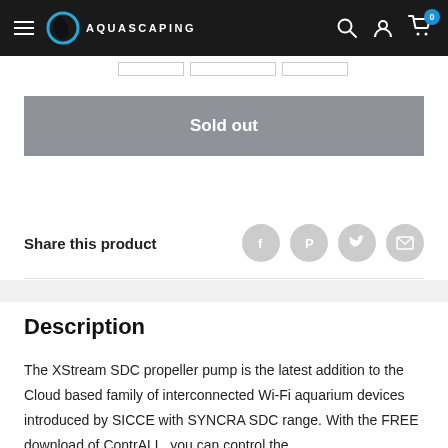AQUASCAPING — navigation bar with hamburger menu, logo, search, account, and cart icons
Sold out
Share this product
Description
The XStream SDC propeller pump is the latest addition to the Cloud based family of interconnected Wi-Fi aquarium devices introduced by SICCE with SYNCRA SDC range. With the FREE download of ContrALL, you can control the